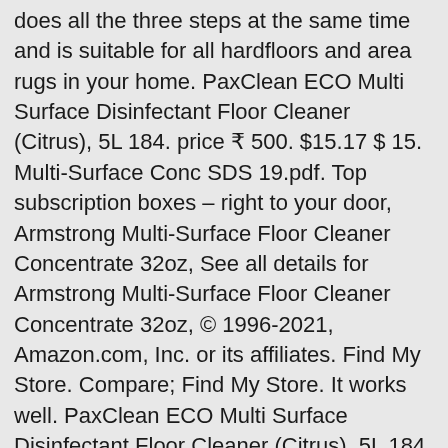does all the three steps at the same time and is suitable for all hardfloors and area rugs in your home. PaxClean ECO Multi Surface Disinfectant Floor Cleaner (Citrus), 5L 184. price ₹ 500. $15.17 $ 15. Multi-Surface Conc SDS 19.pdf. Top subscription boxes – right to your door, Armstrong Multi-Surface Floor Cleaner Concentrate 32oz, See all details for Armstrong Multi-Surface Floor Cleaner Concentrate 32oz, © 1996-2021, Amazon.com, Inc. or its affiliates. Find My Store. Compare; Find My Store. It works well. PaxClean ECO Multi Surface Disinfectant Floor Cleaner (Citrus), 5L 184. price ₹ 500. Buy the selected items together. This shopping feature will continue to load items when the Enter key is pressed. Save 5% more with Subscribe & Save. Bissell. Recommended Surfaces. Get scheduled, repeat delivery . to the compare list. It's a multi-surface finish that can be used on vinyl, hardwood, laminate, tile, linoleum and more. $10 - $20. Compare; Multiple